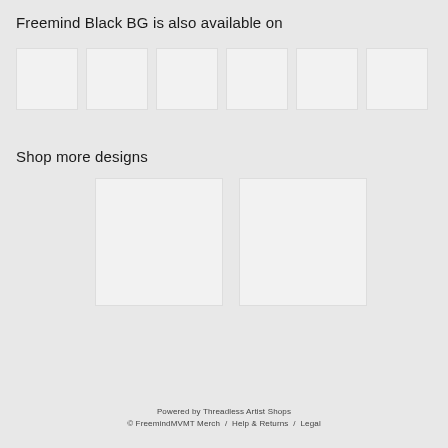Freemind Black BG is also available on
[Figure (photo): Row of 6 small product thumbnail images with light gray background placeholders]
Shop more designs
[Figure (photo): Two larger product thumbnail images side by side with light gray background placeholders]
Powered by Threadless Artist Shops
© FreemindMVMT Merch  /  Help & Returns  /  Legal